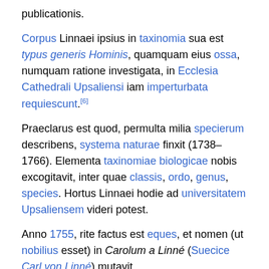publicationis.
Corpus Linnaei ipsius in taxinomia sua est typus generis Hominis, quamquam eius ossa, numquam ratione investigata, in Ecclesia Cathedrali Upsaliensi iam imperturbata requiescunt.[6]
Praeclarus est quod, permulta milia specierum describens, systema naturae finxit (1738–1766). Elementa taxinomiae biologicae nobis excogitavit, inter quae classis, ordo, genus, species. Hortus Linnaei hodie ad universitatem Upsaliensem videri potest.
Anno 1755, rite factus est eques, et nomen (ut nobilius esset) in Carolum a Linné (Suecice Carl von Linné) mutavit.
Opera